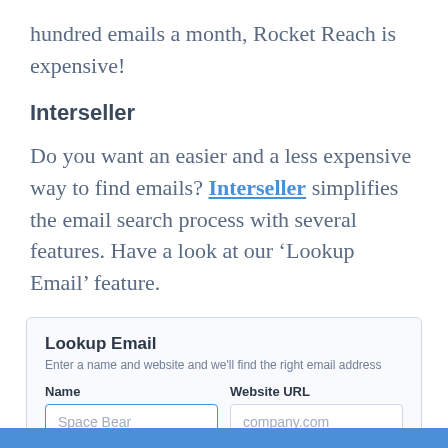hundred emails a month, Rocket Reach is expensive!
Interseller
Do you want an easier and a less expensive way to find emails? Interseller simplifies the email search process with several features. Have a look at our ‘Lookup Email’ feature.
[Figure (screenshot): Lookup Email widget with Name and Website URL input fields and placeholder text 'Space Bear' and 'company.com']